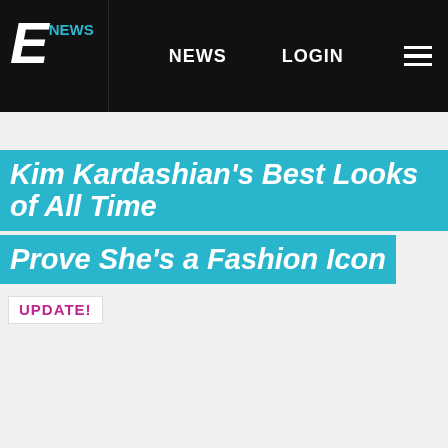E NEWS  NEWS  LOGIN
Kim Kardashian's Best Looks of All Time Prove She's a Fashion Icon
UPDATE!